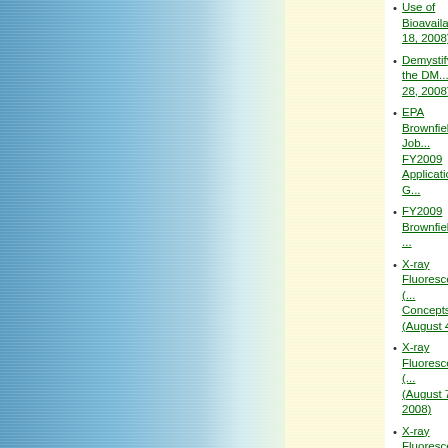Use of Bioavailability... 18, 2008)
Demystifying the DM... 28, 2008)
EPA Brownfields Job... FY2009 Application G...
FY2009 Brownfields ...
X-ray Fluorescence (... Concepts (August 4, ...
X-ray Fluorescence (... (August 7, 2008)
X-ray Fluorescence (... (August 11, 2008)
X-ray Fluorescence (... Applicability (DMA) (...
X-ray Fluorescence (... 2008)
X-ray Fluorescence (... Part 1 (August 21, 20...
Sustainable Practice... Suburban Mayors an...
X-ray Fluorescence (... Part 2 (August 25, 20...
Sustainable Practice... Moline, Illinois (Augu...
X-ray Fluorescence (... (August 28, 2008)
Triad: Beyond Chara... Groundwater Contam...
Brownfields Assessm... States (September ...